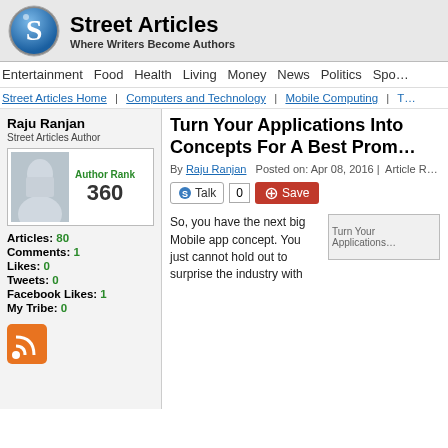[Figure (logo): Street Articles logo - blue circular S icon with site name and tagline]
Street Articles – Where Writers Become Authors
Entertainment | Food | Health | Living | Money | News | Politics | Spo...
Street Articles Home | Computers and Technology | Mobile Computing |
Raju Ranjan
Street Articles Author
Author Rank 360
Articles: 80
Comments: 1
Likes: 0
Tweets: 0
Facebook Likes: 1
My Tribe: 0
Turn Your Applications Into Concepts For A Best Prom...
By Raju Ranjan   Posted on: Apr 08, 2016 |  Article R...
So, you have the next big Mobile app concept. You just cannot hold out to surprise the industry with
[Figure (photo): Turn Your Applications - placeholder image]